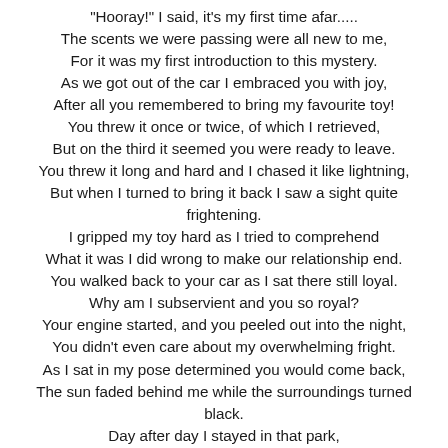"Hooray!" I said, it's my first time afar.....
The scents we were passing were all new to me,
For it was my first introduction to this mystery.
As we got out of the car I embraced you with joy,
After all you remembered to bring my favourite toy!
You threw it once or twice, of which I retrieved,
But on the third it seemed you were ready to leave.
You threw it long and hard and I chased it like lightning,
But when I turned to bring it back I saw a sight quite frightening.
I gripped my toy hard as I tried to comprehend
What it was I did wrong to make our relationship end.
You walked back to your car as I sat there still loyal.
Why am I subservient and you so royal?
Your engine started, and you peeled out into the night,
You didn't even care about my overwhelming fright.
As I sat in my pose determined you would come back,
The sun faded behind me while the surroundings turned black.
Day after day I stayed in that park,
Lying... waiting... too feeble to bark.
As I lay there dying thinking of you master,